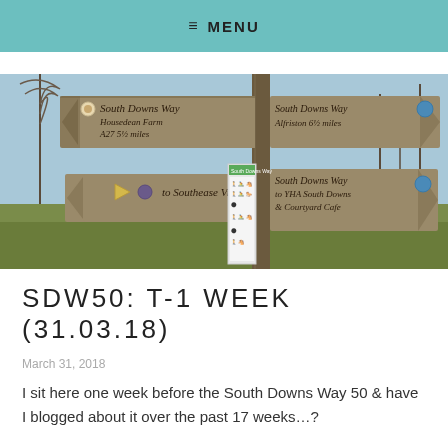≡ MENU
[Figure (photo): A wooden South Downs Way signpost with multiple arrow signs pointing in different directions: South Downs Way to Housedean Farm A27 5½ miles, South Downs Way Alfriston 6½ miles, to Southease Village, South Downs Way to YHA South Downs & Courtyard Cafe. There is also a small information board with icons. The background shows bare trees and open countryside under a blue sky.]
SDW50: T-1 WEEK (31.03.18)
March 31, 2018
I sit here one week before the South Downs Way 50 & have I blogged about it over the past 17 weeks…?